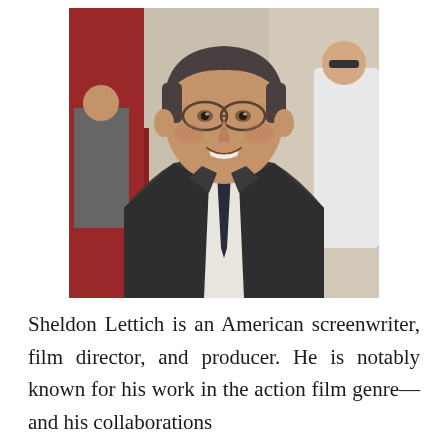[Figure (photo): A middle-aged man with dark graying hair, wearing glasses, a dark suit, white dress shirt, and dark tie, smiling at the camera. Background shows a red carpet event with other people visible.]
Sheldon Lettich is an American screenwriter, film director, and producer. He is notably known for his work in the action film genre—and his collaborations